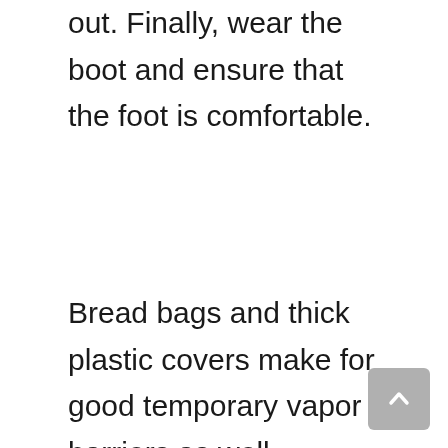out. Finally, wear the boot and ensure that the foot is comfortable.
Bread bags and thick plastic covers make for good temporary vapor barriers as well. However, they are not recommended for long rides as they will not let the foot breathe, causing odor and other hygiene-related issues.